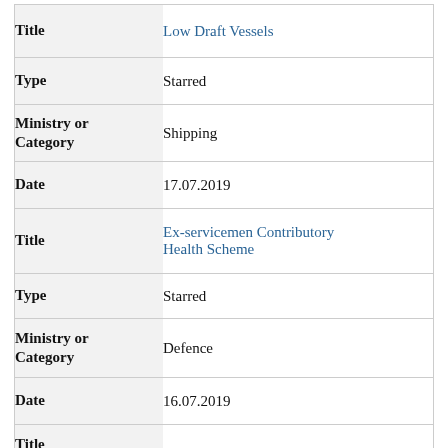| Field | Value |
| --- | --- |
| Title | Low Draft Vessels |
| Type | Starred |
| Ministry or Category | Shipping |
| Date | 17.07.2019 |
| Title | Ex-servicemen Contributory Health Scheme |
| Type | Starred |
| Ministry or Category | Defence |
| Date | 16.07.2019 |
| Title |  |